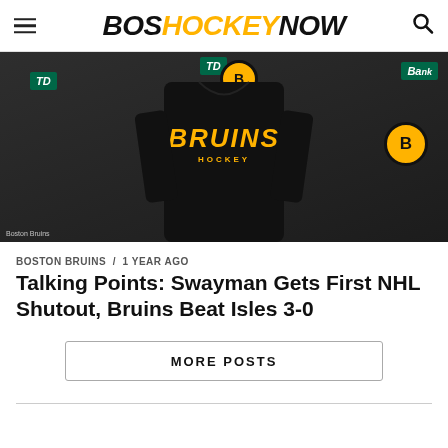BOS HOCKEY NOW
[Figure (photo): Boston Bruins player at a press conference wearing a Bruins hockey jersey, standing in front of a TD Bank branded backdrop with Bruins logos]
Boston Bruins
BOSTON BRUINS / 1 year ago
Talking Points: Swayman Gets First NHL Shutout, Bruins Beat Isles 3-0
MORE POSTS